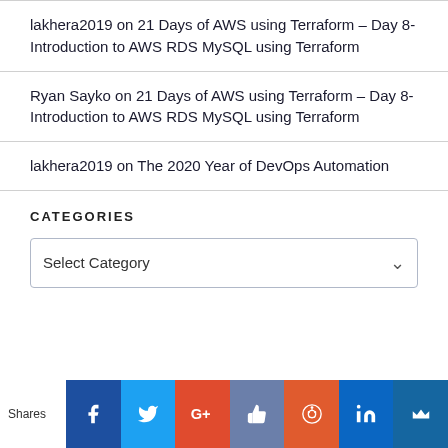lakhera2019 on 21 Days of AWS using Terraform – Day 8- Introduction to AWS RDS MySQL using Terraform
Ryan Sayko on 21 Days of AWS using Terraform – Day 8- Introduction to AWS RDS MySQL using Terraform
lakhera2019 on The 2020 Year of DevOps Automation
CATEGORIES
Select Category
[Figure (infographic): Social sharing bar with icons for Facebook, Twitter, Google+, Like, Reddit, LinkedIn, and MeWe]